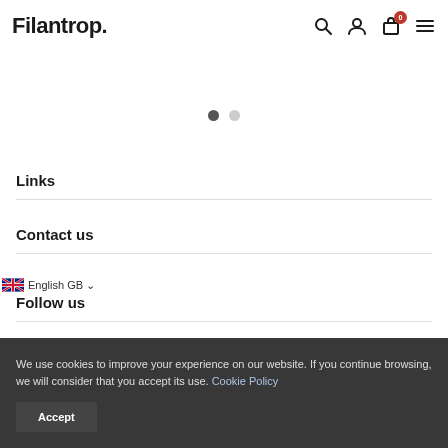Filantrop.
[Figure (other): Carousel navigation dots — one active (dark), one inactive (light grey)]
Links
Contact us
English GB
Follow us
We use cookies to improve your experience on our website. If you continue browsing, we will consider that you accept its use. Cookie Policy
Accept